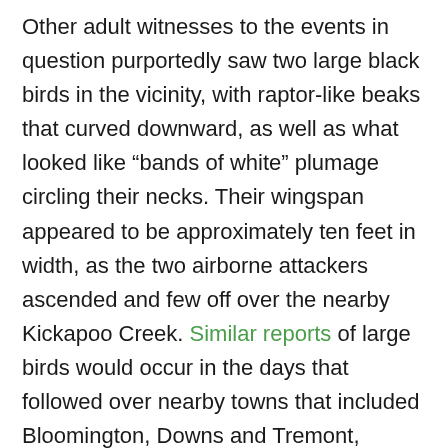Other adult witnesses to the events in question purportedly saw two large black birds in the vicinity, with raptor-like beaks that curved downward, as well as what looked like “bands of white” plumage circling their necks. Their wingspan appeared to be approximately ten feet in width, as the two airborne attackers ascended and few off over the nearby Kickapoo Creek. Similar reports of large birds would occur in the days that followed over nearby towns that included Bloomington, Downs and Tremont, among others.
What do you think? Act of nature, or a Hitchcockian nightmare about to unfold? You